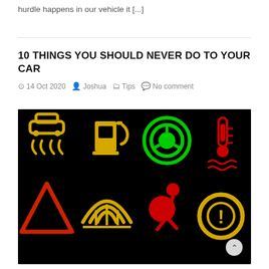hurdle happens in our vehicle it [...]
10 THINGS YOU SHOULD NEVER DO TO YOUR CAR
14 Oct 2020  Joshua  Tips  No comment
[Figure (photo): Dark background image showing 8 car dashboard warning light icons in two rows: top row - traction control (yellow), fuel (yellow), brake/steering (green), coolant temperature (red); bottom row - hazard/warning triangle (red), rear window defrost (yellow), airbag (red), tire pressure (yellow)]